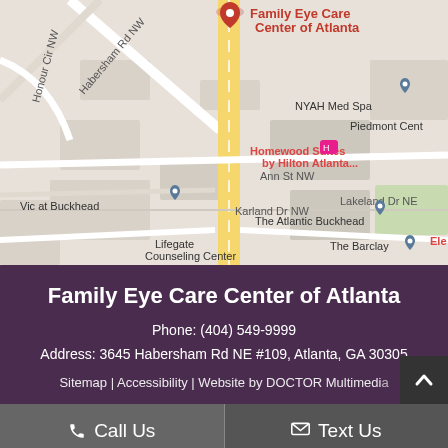[Figure (map): Google Maps screenshot showing the location of Family Eye Care Center of Atlanta on Habersham Rd NW in Atlanta. Nearby landmarks include NYAH Med Spa, Homewood Suites by Hilton Atlanta, Vic at Buckhead, The Atlantic Buckhead, Ann St NW, Karland Dr NW, Lifegate Counseling Center, Lakeland Dr NE, The Barclay, Piedmont Cent, and Honour Cir NW.]
Family Eye Care Center of Atlanta
Phone: (404) 549-9999
Address: 3645 Habersham Rd NE #109, Atlanta, GA 30305
Sitemap | Accessibility | Website by DOCTOR Multimedia
Call Us
Text Us